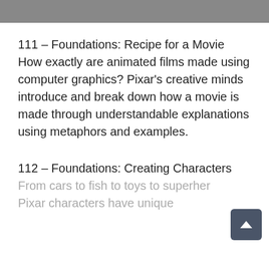[Figure (photo): Cropped top portion of an image, appears to show faces or characters, partially visible at top of page]
111 – Foundations: Recipe for a Movie How exactly are animated films made using computer graphics? Pixar's creative minds introduce and break down how a movie is made through understandable explanations using metaphors and examples.
112 – Foundations: Creating Characters From cars to fish to toys to superher... Pixar characters have unique